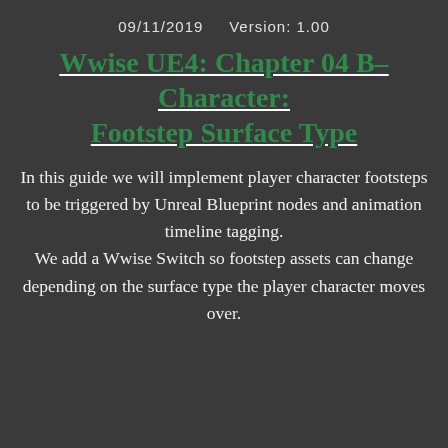09/11/2019    Version: 1.00
Wwise UE4: Chapter 04 B–Character: Footstep Surface Type
In this guide we will implement player character footsteps to be triggered by Unreal Blueprint nodes and animation timeline tagging.
We add a Wwise Switch so footstep assets can change depending on the surface type the player character moves over.